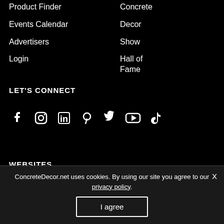Product Finder
Events Calendar
Advertisers
Login
Concrete
Decor
Show
Hall of Fame
LET'S CONNECT
[Figure (other): Social media icons: Facebook, Instagram, LinkedIn, Pinterest, Twitter, YouTube, TikTok]
WEBSITES
ConcreteDecor.net uses cookies. By using our site you agree to our privacy policy.
I agree